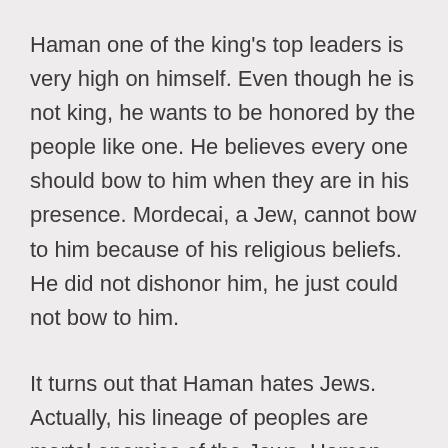Haman one of the king's top leaders is very high on himself. Even though he is not king, he wants to be honored by the people like one. He believes every one should bow to him when they are in his presence. Mordecai, a Jew, cannot bow to him because of his religious beliefs. He did not dishonor him, he just could not bow to him.
It turns out that Haman hates Jews. Actually, his lineage of peoples are mortal enemies of the Jews. Haman has devised a plan to get rid of Mordecai and rid the rest of his people that are in exile. Esther just so happens to be Mordecai's niece…that means the king's new bride is a Jew.